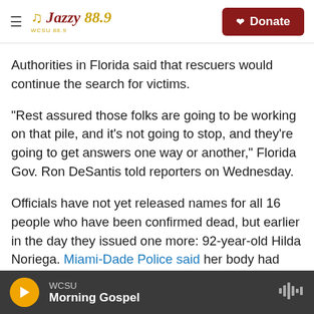Jazzy 88.9 WCSU | Donate
Authorities in Florida said that rescuers would continue the search for victims.
"Rest assured those folks are going to be working on that pile, and it's not going to stop, and they're going to get answers one way or another," Florida Gov. Ron DeSantis told reporters on Wednesday.
Officials have not yet released names for all 16 people who have been confirmed dead, but earlier in the day they issued one more: 92-year-old Hilda Noriega. Miami-Dade Police said her body had been recovered on Tuesday.
WCSU | Morning Gospel